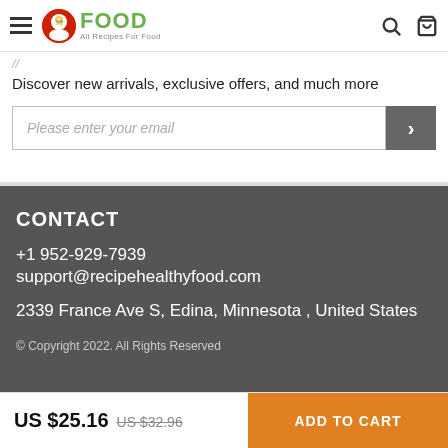FOOD All Recipes For Food
Discover new arrivals, exclusive offers, and much more
Please enter your email
CONTACT
+1 952-929-7939
support@recipehealthyfood.com
2339 France Ave S, Edina, Minnesota , United States
© Copyright 2022. All Rights Reserved
US $25.16  US $32.96  ADD TO CART